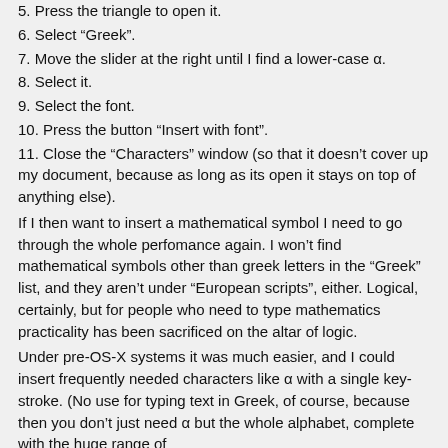5. Press the triangle to open it.
6. Select “Greek”.
7. Move the slider at the right until I find a lower-case α.
8. Select it.
9. Select the font.
10. Press the button “Insert with font”.
11. Close the “Characters” window (so that it doesn’t cover up my document, because as long as its open it stays on top of anything else).
If I then want to insert a mathematical symbol I need to go through the whole perfomance again. I won’t find mathematical symbols other than greek letters in the “Greek” list, and they aren’t under “European scripts”, either. Logical, certainly, but for people who need to type mathematics practicality has been sacrificed on the altar of logic.
Under pre-OS-X systems it was much easier, and I could insert frequently needed characters like α with a single key-stroke. (No use for typing text in Greek, of course, because then you don’t just need α but the whole alphabet, complete with the huge range of